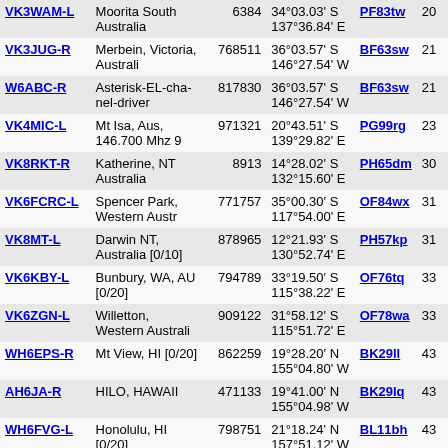| Callsign | Location | Node | Coordinates | Grid |  |
| --- | --- | --- | --- | --- | --- |
| VK3WAM-L | Moorita South Australia | 6384 | 34°03.03' S 137°36.84' E | PF83tw | 20 |
| VK3JUG-R | Merbein, Victoria, Australi | 768511 | 36°03.57' S 146°27.54' W | BF63sw | 21 |
| W6ABC-R | Asterisk-EL-cha-nel-driver | 817830 | 36°03.57' S 146°27.54' W | BF63sw | 21 |
| VK4MIC-L | Mt Isa, Aus, 146.700 Mhz 9 | 971321 | 20°43.51' S 139°29.82' E | PG99rg | 23 |
| VK8RKT-R | Katherine, NT Australia | 8913 | 14°28.02' S 132°15.60' E | PH65dm | 30 |
| VK6FCRC-L | Spencer Park, Western Austr | 771757 | 35°00.30' S 117°54.00' E | OF84wx | 31 |
| VK8MT-L | Darwin NT, Australia [0/10] | 878965 | 12°21.93' S 130°52.74' E | PH57kp | 31 |
| VK6KBY-L | Bunbury, WA, AU [0/20] | 794789 | 33°19.50' S 115°38.22' E | OF76tq | 33 |
| VK6ZGN-L | Willetton, Western Australi | 909122 | 31°58.12' S 115°51.72' E | OF78wa | 33 |
| WH6EPS-R | Mt View, HI [0/20] | 862259 | 19°28.20' N 155°04.80' W | BK29ll | 43 |
| AH6JA-R | HILO, HAWAII | 471133 | 19°41.00' N 155°04.98' W | BK29lq | 43 |
| WH6FVG-L | Honolulu, HI [0/20] | 798751 | 21°18.24' N 157°51.12' W | BL11bh | 43 |
| KH2INC-L | In Conference *VA7INC* | 90443 | 13°40.00' N 144°07.02' W | BK73wq | 43 |